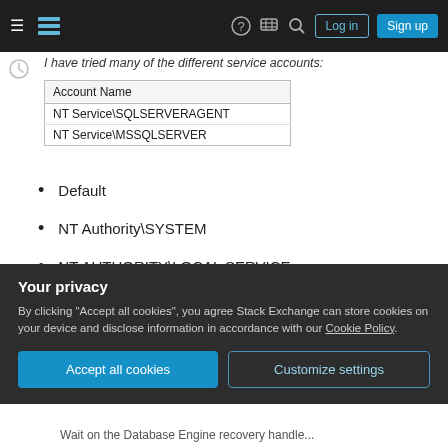Stack Exchange navigation bar with hamburger menu, logo, help, chat, search icons, Log in and Sign up buttons
I have tried many of the different service accounts:
| Account Name |
| --- |
| NT Service\SQLSERVERAGENT |
| NT Service\MSSQLSERVER |
Default
NT Authority\SYSTEM
NT AUTHORITY\LOCAL SERVICE
NT AUTHORITY\NETWORK SERVICE
At the end of the install, I still get the same error:
"Wait on the Database Engine recovery handle
Your privacy
By clicking "Accept all cookies", you agree Stack Exchange can store cookies on your device and disclose information in accordance with our Cookie Policy.
Accept all cookies
Customize settings
Wait on the Database Engine recovery handle...